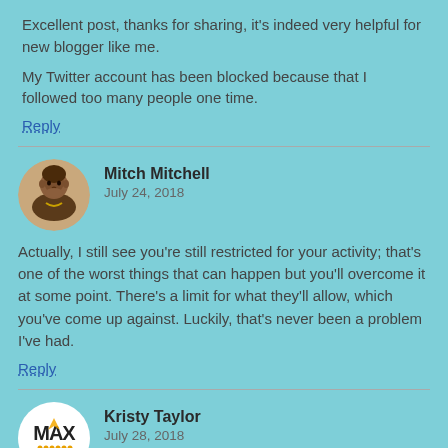Excellent post, thanks for sharing, it's indeed very helpful for new blogger like me.

My Twitter account has been blocked because that I followed too many people one time.
Reply
Mitch Mitchell
July 24, 2018
Actually, I still see you're still restricted for your activity; that's one of the worst things that can happen but you'll overcome it at some point. There's a limit for what they'll allow, which you've come up against. Luckily, that's never been a problem I've had.
Reply
Kristy Taylor
July 28, 2018
Hi Mitch,
Thanks for this post. I am going to follow your tips and promote my website MAXBPO on social media more